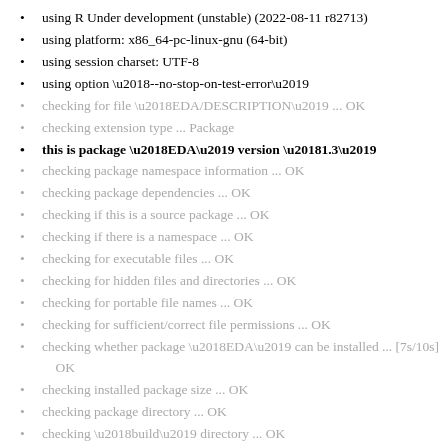using R Under development (unstable) (2022-08-11 r82713)
using platform: x86_64-pc-linux-gnu (64-bit)
using session charset: UTF-8
using option ‘--no-stop-on-test-error’
checking for file ‘EDA/DESCRIPTION’ ... OK
checking extension type ... Package
this is package ‘EDA’ version ‘1.3’
checking package namespace information ... OK
checking package dependencies ... OK
checking if this is a source package ... OK
checking if there is a namespace ... OK
checking for executable files ... OK
checking for hidden files and directories ... OK
checking for portable file names ... OK
checking for sufficient/correct file permissions ... OK
checking whether package ‘EDA’ can be installed ... [7s/10s] OK
checking installed package size ... OK
checking package directory ... OK
checking ‘build’ directory ... OK
checking DESCRIPTION meta-information ... OK
checking top-level files ... OK
checking for left-over files ... OK
checking index information ... OK